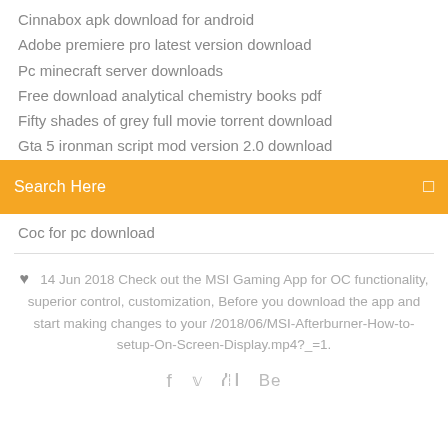Cinnabox apk download for android
Adobe premiere pro latest version download
Pc minecraft server downloads
Free download analytical chemistry books pdf
Fifty shades of grey full movie torrent download
Gta 5 ironman script mod version 2.0 download
[Figure (screenshot): Orange search bar with 'Search Here' placeholder text and a small icon on the right]
Coc for pc download
❤ 14 Jun 2018 Check out the MSI Gaming App for OC functionality, superior control, customization, Before you download the app and start making changes to your /2018/06/MSI-Afterburner-How-to-setup-On-Screen-Display.mp4?_=1.
[Figure (infographic): Social media icons: Facebook, Twitter, a circular icon, and Behance]